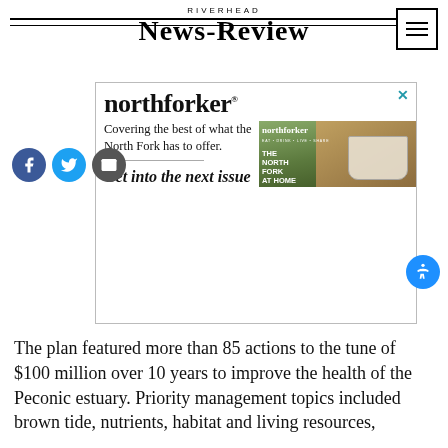RIVERHEAD NEWS-REVIEW
[Figure (illustration): Northforker advertisement showing magazine logo, tagline 'Covering the best of what the North Fork has to offer.', magazine cover image with teacups containing succulents, and CTA 'Get into the next issue']
The plan featured more than 85 actions to the tune of $100 million over 10 years to improve the health of the Peconic estuary. Priority management topics included brown tide, nutrients, habitat and living resources,